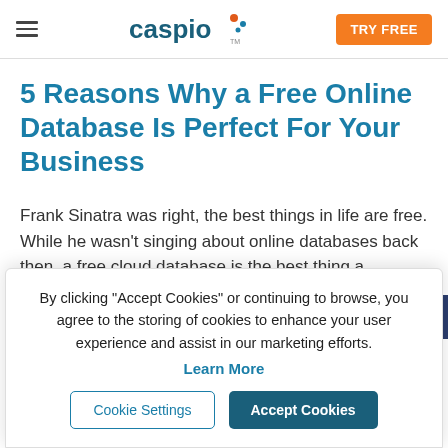Caspio — TRY FREE
5 Reasons Why a Free Online Database Is Perfect For Your Business
Frank Sinatra was right, the best things in life are free. While he wasn't singing about online databases back then, a free cloud database is the best thing a digitally...
By clicking "Accept Cookies" or continuing to browse, you agree to the storing of cookies to enhance your user experience and assist in our marketing efforts. Learn More
Cookie Settings | Accept Cookies